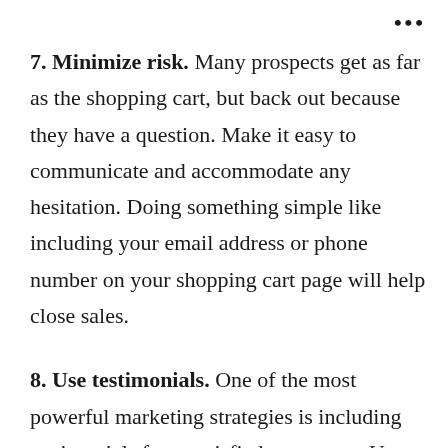7. Minimize risk. Many prospects get as far as the shopping cart, but back out because they have a question. Make it easy to communicate and accommodate any hesitation. Doing something simple like including your email address or phone number on your shopping cart page will help close sales.
8. Use testimonials. One of the most powerful marketing strategies is including testimonials from satisfied customers. Use them often; use